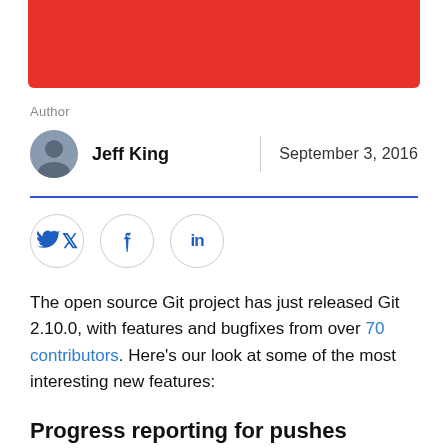[Figure (illustration): Red banner/header block at top of page]
Author
Jeff King   |   September 3, 2016
[Figure (illustration): Social share buttons: Twitter, Facebook, LinkedIn in circle outlines]
The open source Git project has just released Git 2.10.0, with features and bugfixes from over 70 contributors. Here's our look at some of the most interesting new features:
Progress reporting for pushes